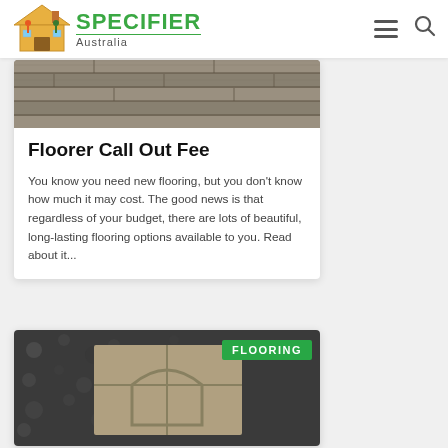SPECIFIER Australia
[Figure (photo): Wood flooring texture image at top of article card]
Floorer Call Out Fee
You know you need new flooring, but you don't know how much it may cost. The good news is that regardless of your budget, there are lots of beautiful, long-lasting flooring options available to you. Read about it...
[Figure (photo): Stone tile flooring photo with FLOORING green badge label]